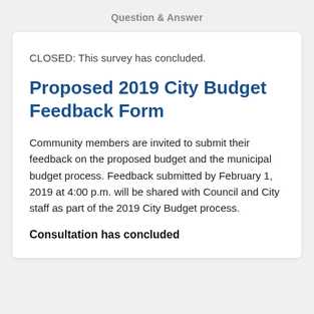Question & Answer
CLOSED: This survey has concluded.
Proposed 2019 City Budget Feedback Form
Community members are invited to submit their feedback on the proposed budget and the municipal budget process. Feedback submitted by February 1, 2019 at 4:00 p.m. will be shared with Council and City staff as part of the 2019 City Budget process.
Consultation has concluded